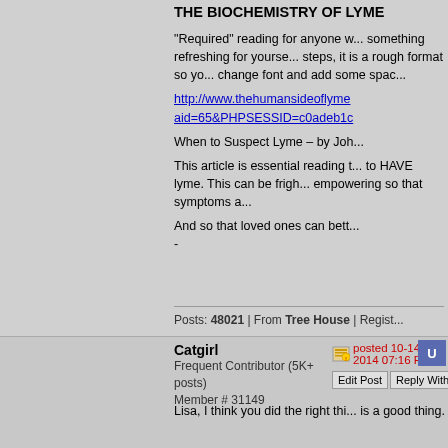THE BIOCHEMISTRY OF LYME
"Required" reading for anyone w... something refreshing for yourse... steps, it is a rough format so yo... change font and add some spac...
http://www.thehumansideoflymedisease.com/...aid=65&PHPSESSID=c0adeb1c...
When to Suspect Lyme – by Joh...
This article is essential reading t... to HAVE lyme. This can be frigh... empowering so that symptoms a...
And so that loved ones can bett... -
Posts: 48021 | From Tree House | Regist...
Catgirl
Frequent Contributor (5K+ posts)
Member # 31149
posted 10-14-2014 07:16 PM
Lisa, I think you did the right thi... is a good thing.